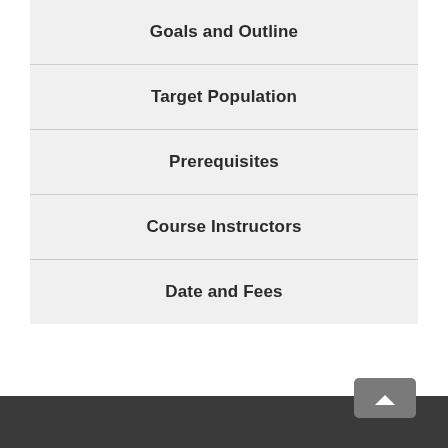Goals and Outline
Target Population
Prerequisites
Course Instructors
Date and Fees